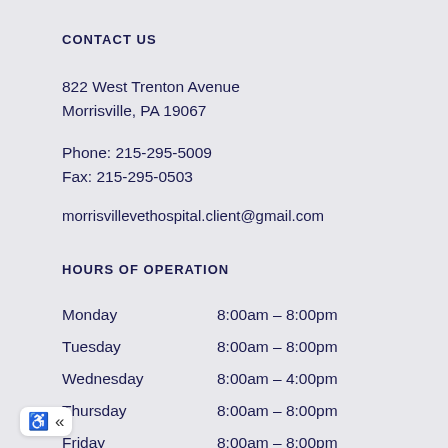CONTACT US
822 West Trenton Avenue
Morrisville, PA 19067
Phone: 215-295-5009
Fax: 215-295-0503
morrisvillevethospital.client@gmail.com
HOURS OF OPERATION
| Day | Hours |
| --- | --- |
| Monday | 8:00am – 8:00pm |
| Tuesday | 8:00am – 8:00pm |
| Wednesday | 8:00am – 4:00pm |
| Thursday | 8:00am – 8:00pm |
| Friday | 8:00am – 8:00pm |